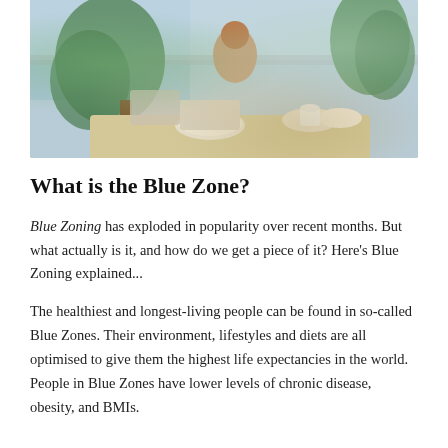[Figure (photo): A woman sitting at a table on a bright terrace or balcony with plants, teacups, plates of food, and a scenic view in the background.]
What is the Blue Zone?
Blue Zoning has exploded in popularity over recent months. But what actually is it, and how do we get a piece of it? Here's Blue Zoning explained...
The healthiest and longest-living people can be found in so-called Blue Zones. Their environment, lifestyles and diets are all optimised to give them the highest life expectancies in the world. People in Blue Zones have lower levels of chronic disease, obesity, and BMIs.